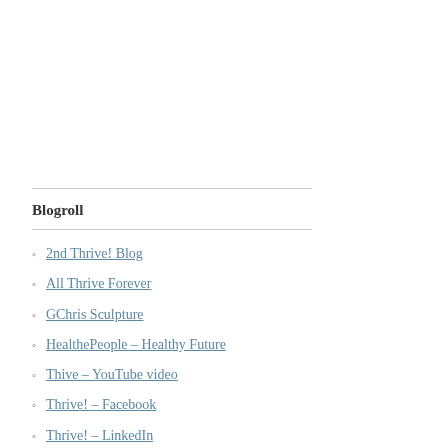Blogroll
2nd Thrive! Blog
All Thrive Forever
GChris Sculpture
HealthePeople – Healthy Future
Thive – YouTube video
Thrive! – Facebook
Thrive! – LinkedIn
Thrive! – Building a Thriving Future